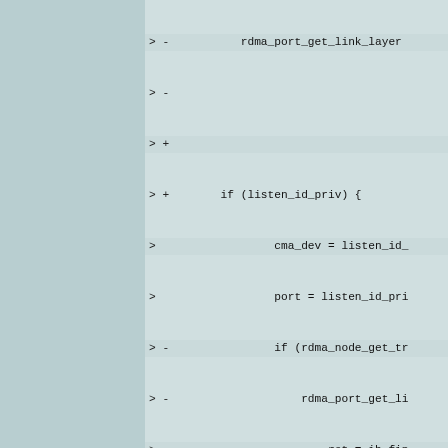[Figure (screenshot): Code diff viewer showing a section of C code related to RDMA/IB networking, with lines prefixed by '>' and '+' or '-' markers indicating added/removed lines. The code includes fragments of functions involving listen_id_priv, rdma_port_get_link_layer, cma_validate_p, gidp, id_priv->id, goto out, and list_for_each_entry.]